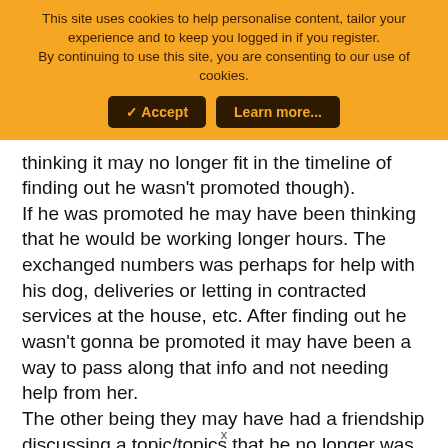This site uses cookies to help personalise content, tailor your experience and to keep you logged in if you register.
By continuing to use this site, you are consenting to our use of cookies.
✓ Accept | Learn more...
thinking it may no longer fit in the timeline of finding out he wasn't promoted though).
If he was promoted he may have been thinking that he would be working longer hours. The exchanged numbers was perhaps for help with his dog, deliveries or letting in contracted services at the house, etc. After finding out he wasn't gonna be promoted it may have been a way to pass along that info and not needing help from her.
The other being they may have had a friendship discussing a topic/topics that he no longer was going to need to discuss as he was disappearing.
x